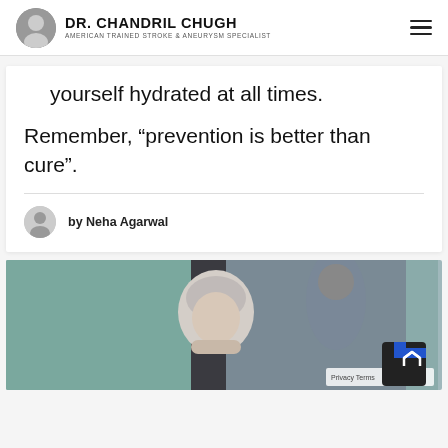DR. CHANDRIL CHUGH — AMERICAN TRAINED STROKE & ANEURYSM SPECIALIST
yourself hydrated at all times.
Remember, “prevention is better than cure”.
by Neha Agarwal
[Figure (photo): An elderly woman with short grey hair resting her chin on her hand, looking pensive, with another person partially visible behind her. Background includes a teal/green wall.]